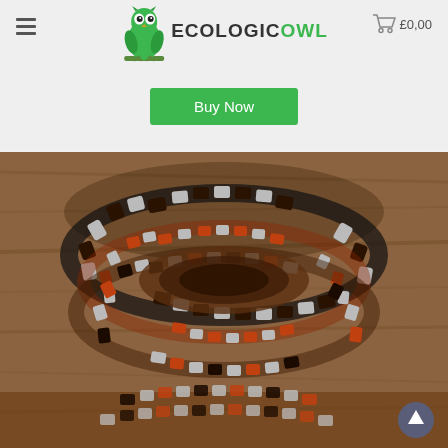EcologicOwl — £0.00 cart — Buy Now
[Figure (photo): Wooden and stainless steel bracelet set on a wooden surface — three bracelets stacked, featuring alternating dark wood, light wood/rosewood, and brushed metal rectangular beads on elastic bands.]